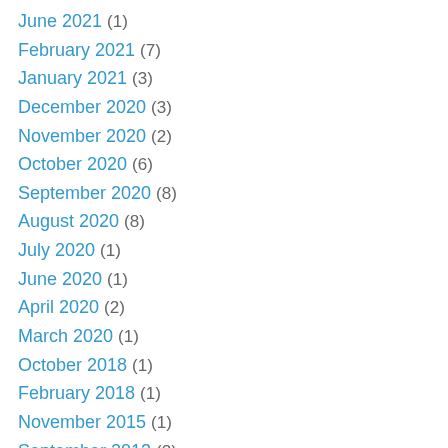June 2021 (1)
February 2021 (7)
January 2021 (3)
December 2020 (3)
November 2020 (2)
October 2020 (6)
September 2020 (8)
August 2020 (8)
July 2020 (1)
June 2020 (1)
April 2020 (2)
March 2020 (1)
October 2018 (1)
February 2018 (1)
November 2015 (1)
September 2013 (2)
August 2013 (5)
April 2013 (2)
March 2013 (3)
February 2013 (2)